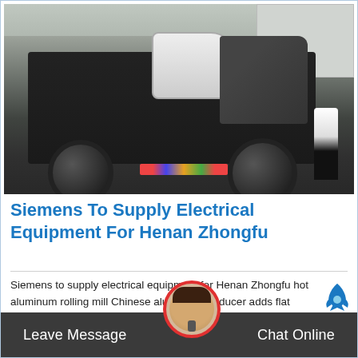[Figure (photo): A large heavy industrial mobile machine (likely a mobile crusher) mounted on a truck chassis, dark-colored with a white component on top, parked in an outdoor industrial facility. A person in white shirt and black pants stands to the right. Factory building visible in background.]
Siemens To Supply Electrical Equipment For Henan Zhongfu
Siemens to supply electrical equipment for Henan Zhongfu hot aluminum rolling mill Chinese aluminum producer adds flat products to his portfolio Linz, Austria, 2011… Siemens has received an order…